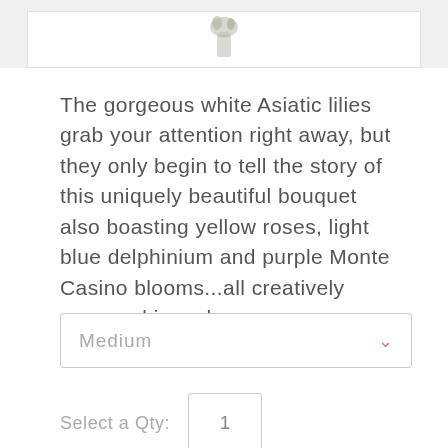[Figure (photo): Partial view of a floral arrangement in a clear rose vase, showing the top portion cut off at the page boundary]
The gorgeous white Asiatic lilies grab your attention right away, but they only begin to tell the story of this uniquely beautiful bouquet also boasting yellow roses, light blue delphinium and purple Monte Casino blooms...all creatively arranged in a clear rose vase.
Medium
Select a Qty:  1